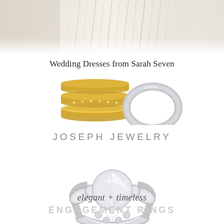[Figure (photo): Close-up of ivory/cream wedding dress fabric with fine pleating and drape texture against a light background]
Wedding Dresses from Sarah Seven
[Figure (photo): Stacked gold and diamond wedding bands alongside a silver/platinum wedding band on white background]
JOSEPH JEWELRY
[Figure (photo): Elegant diamond engagement ring with marquise and round side stones in platinum/white gold setting on white background]
elegant + timeless
ENGAGEMENT RINGS